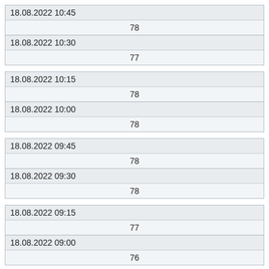| 18.08.2022 10:45 | 78 |
| 18.08.2022 10:30 | 77 |
| 18.08.2022 10:15 | 78 |
| 18.08.2022 10:00 | 78 |
| 18.08.2022 09:45 | 78 |
| 18.08.2022 09:30 | 78 |
| 18.08.2022 09:15 | 77 |
| 18.08.2022 09:00 | 76 |